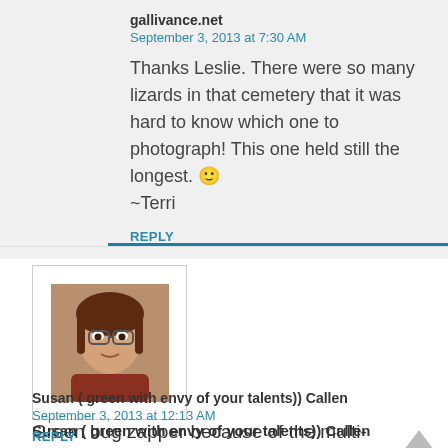gallivance.net
September 3, 2013 at 7:30 AM
Thanks Leslie. There were so many lizards in that cemetery that it was hard to know which one to photograph! This one held still the longest. 🙂 ~Terri
REPLY
[Figure (photo): Small avatar photo of a woman with dark hair and glasses]
Susan ( green with envy of your talents)) Callen
September 3, 2013 at 12:13 AM
Green bug zapper because of the multi-tonal greens
REPLY